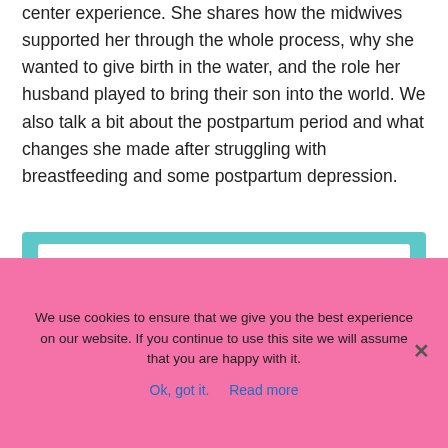center experience. She shares how the midwives supported her through the whole process, why she wanted to give birth in the water, and the role her husband played to bring their son into the world. We also talk a bit about the postpartum period and what changes she made after struggling with breastfeeding and some postpartum depression.
In this Episode, You'll Learn About:
We use cookies to ensure that we give you the best experience on our website. If you continue to use this site we will assume that you are happy with it.
Ok, got it.   Read more